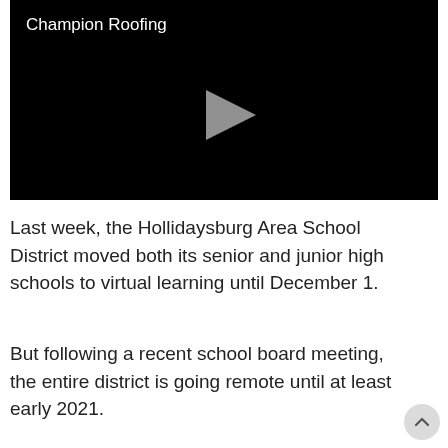[Figure (screenshot): Black video player with 'Champion Roofing' label in top-left and a gray play button triangle in the center]
Last week, the Hollidaysburg Area School District moved both its senior and junior high schools to virtual learning until December 1.
But following a recent school board meeting, the entire district is going remote until at least early 2021.